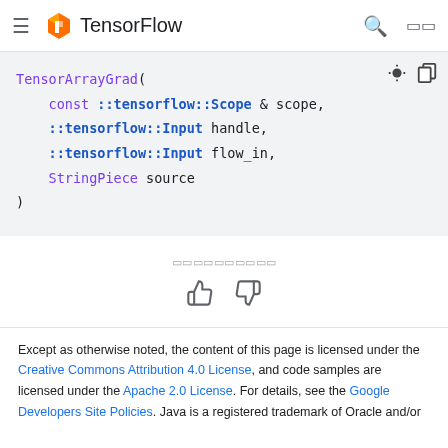TensorFlow
[Figure (screenshot): Code block showing TensorArrayGrad function signature with parameters: const ::tensorflow::Scope & scope, ::tensorflow::Input handle, ::tensorflow::Input flow_in, StringPiece source]
□□□□□□□□□□
[Figure (other): Thumbs up and thumbs down feedback icons]
Except as otherwise noted, the content of this page is licensed under the Creative Commons Attribution 4.0 License, and code samples are licensed under the Apache 2.0 License. For details, see the Google Developers Site Policies. Java is a registered trademark of Oracle and/or